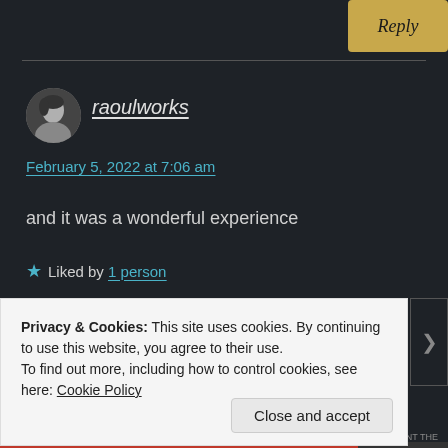[Figure (screenshot): Reply button in golden/amber color at top right]
raoulworks
February 5, 2022 at 7:06 am
and it was a wonderful experience
★ Liked by 1 person
Privacy & Cookies: This site uses cookies. By continuing to use this website, you agree to their use.
To find out more, including how to control cookies, see here: Cookie Policy
Close and accept